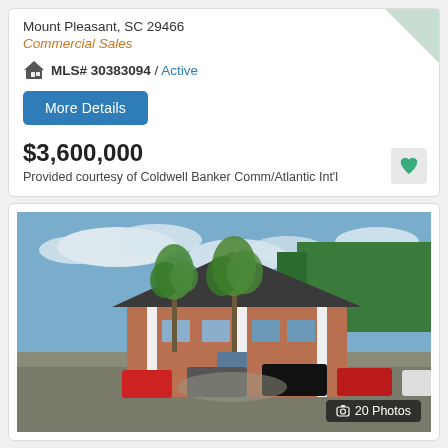Mount Pleasant, SC 29466
Commercial Sales
MLS# 30383094 / Active
More Details
$3,600,000
Provided courtesy of Coldwell Banker Comm/Atlantic Int'l
[Figure (photo): Exterior photo of a brick commercial building with palm trees in front, several cars parked in the lot. Photo counter shows 20 Photos.]